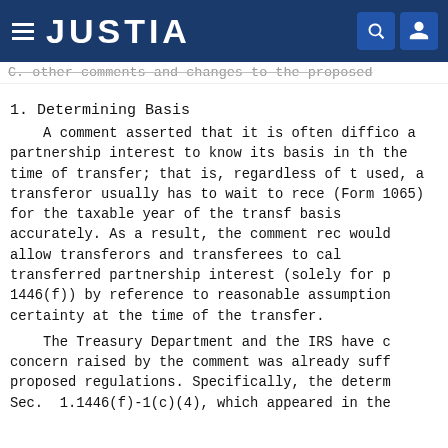JUSTIA
C. other comments and changes to the proposed
1. Determining Basis
A comment asserted that it is often difficult for a partnership interest to know its basis in the transferred interest at the time of transfer; that is, regardless of the method used, a transferor usually has to wait to receive the Schedule K-1 (Form 1065) for the taxable year of the transfer to determine its basis accurately. As a result, the comment recommended that the regulations would allow transferors and transferees to calculate the basis in the transferred partnership interest (solely for purposes of section 1446(f)) by reference to reasonable assumptions known with certainty at the time of the transfer.
The Treasury Department and the IRS have determined that the concern raised by the comment was already sufficiently addressed in the proposed regulations. Specifically, the determination under Prop. Reg. Sec. 1.1446(f)-1(c)(4), which appeared in the